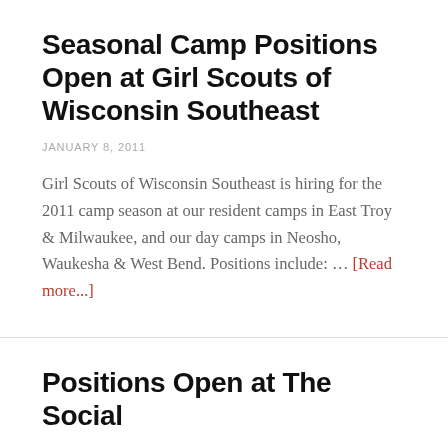Seasonal Camp Positions Open at Girl Scouts of Wisconsin Southeast
JANUARY 8, 2011
Girl Scouts of Wisconsin Southeast is hiring for the 2011 camp season at our resident camps in East Troy & Milwaukee, and our day camps in Neosho, Waukesha & West Bend. Positions include: … [Read more...]
Positions Open at The Social